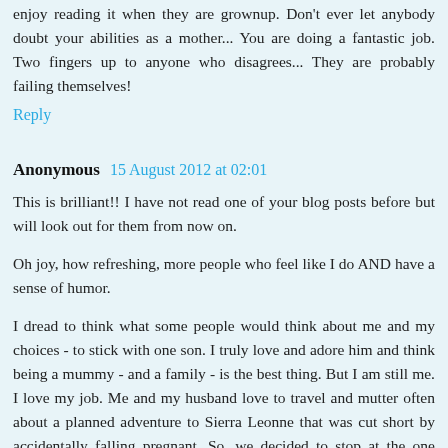enjoy reading it when they are grownup. Don't ever let anybody doubt your abilities as a mother... You are doing a fantastic job. Two fingers up to anyone who disagrees... They are probably failing themselves!
Reply
Anonymous  15 August 2012 at 02:01
This is brilliant!! I have not read one of your blog posts before but will look out for them from now on.
Oh joy, how refreshing, more people who feel like I do AND have a sense of humor.
I dread to think what some people would think about me and my choices - to stick with one son. I truly love and adore him and think being a mummy - and a family - is the best thing. But I am still me. I love my job. Me and my husband love to travel and mutter often about a planned adventure to Sierra Leonne that was cut short by accidentally falling pregnant. So, we decided to stop at the one child so that we - as in the 3 of us - can live the life full